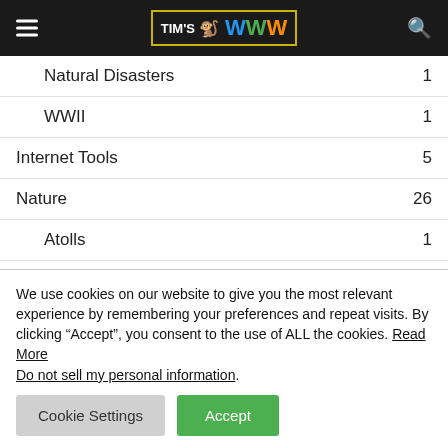Tim's WWW
Natural Disasters  1
WWII  1
Internet Tools  5
Nature  26
Atolls  1
Caves  5
Crystals  1
We use cookies on our website to give you the most relevant experience by remembering your preferences and repeat visits. By clicking “Accept”, you consent to the use of ALL the cookies. Read More
Do not sell my personal information.